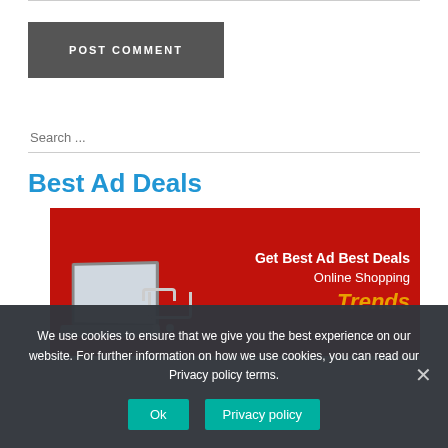POST COMMENT
Search ...
Best Ad Deals
[Figure (illustration): Ad banner with red background, laptop, shopping cart, text: 'Get Best Ad Best Deals Online Shopping Trends']
We use cookies to ensure that we give you the best experience on our website. For further information on how we use cookies, you can read our Privacy policy terms.
Ok  Privacy policy